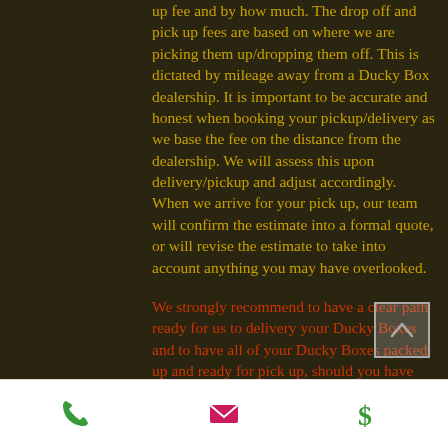up fee and by how much. The drop off and pick up fees are based on where we are picking them up/dropping them off. This is dictated by mileage away from a Ducky Box dealership. It is important to be accurate and honest when booking your pickup/delivery as we base the fee on the distance from the dealership. We will assess this upon delivery/pickup and adjust accordingly. When we arrive for your pick up, our team will confirm the estimate into a formal quote, or will revise the estimate to take into account anything you may have overlooked.
We strongly recommend to have a clear path ready for us to delivery your Ducky Boxes and to have all of your Ducky Boxes packed up and ready for pick up, should you have that service.
[phone icon] [email icon] [dollar icon]